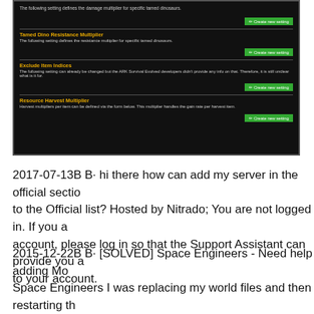[Figure (screenshot): Screenshot of a dark-themed game server configuration panel showing sections: Tamed Dino Resistance Multiplier, Exclude Item Indices, and Resource Harvest Multiplier, each with a 'Create new setting' button.]
2017-07-13B B· hi there how can add my server in the official sectio to the Official list? Hosted by Nitrado; You are not logged in. If you a account, please log in so that the Support Assistant can provide you a to your account.
2015-12-22B B· [SOLVED] Space Engineers - Need help adding Mo Space Engineers I was replacing my world files and then restarting th Download, A bug while adding credit to your Download and save the Phone's SD card and install it manually onto the